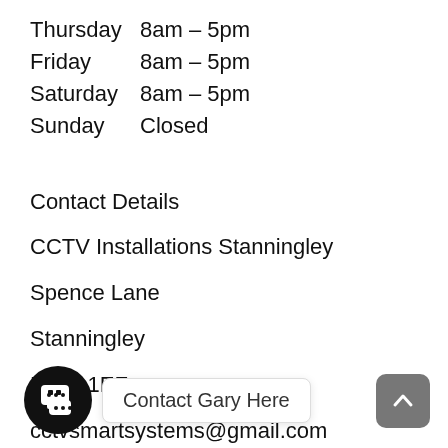Thursday   8am – 5pm
Friday       8am – 5pm
Saturday   8am – 5pm
Sunday      Closed
Contact Details
CCTV Installations Stanningley
Spence Lane
Stanningley
LS12 1EF
cctvsmartsystems@gmail.com
07860244274